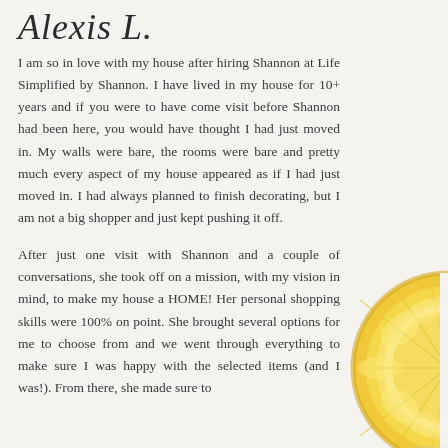Alexis L.
I am so in love with my house after hiring Shannon at Life Simplified by Shannon. I have lived in my house for 10+ years and if you were to have come visit before Shannon had been here, you would have thought I had just moved in. My walls were bare, the rooms were bare and pretty much every aspect of my house appeared as if I had just moved in. I had always planned to finish decorating, but I am not a big shopper and just kept pushing it off.
After just one visit with Shannon and a couple of conversations, she took off on a mission, with my vision in mind, to make my house a HOME! Her personal shopping skills were 100% on point. She brought several options for me to choose from and we went through everything to make sure I was happy with the selected items (and I was!). From there, she made sure to
[Figure (photo): Half lemon slice visible on the right side of the page]